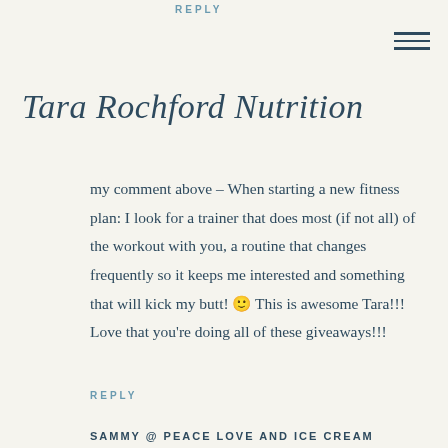REPLY
Tara Rochford Nutrition
my comment above – When starting a new fitness plan: I look for a trainer that does most (if not all) of the workout with you, a routine that changes frequently so it keeps me interested and something that will kick my butt! 🙂 This is awesome Tara!!! Love that you're doing all of these giveaways!!!
REPLY
SAMMY @ PEACE LOVE AND ICE CREAM